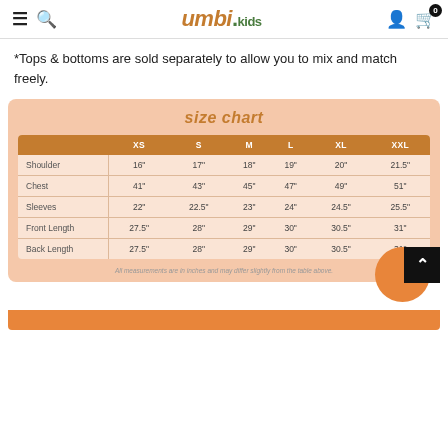umbi.kids
*Tops & bottoms are sold separately to allow you to mix and match freely.
|  | XS | S | M | L | XL | XXL |
| --- | --- | --- | --- | --- | --- | --- |
| Shoulder | 16" | 17" | 18" | 19" | 20" | 21.5" |
| Chest | 41" | 43" | 45" | 47" | 49" | 51" |
| Sleeves | 22" | 22.5" | 23" | 24" | 24.5" | 25.5" |
| Front Length | 27.5" | 28" | 29" | 30" | 30.5" | 31" |
| Back Length | 27.5" | 28" | 29" | 30" | 30.5" | 31" |
All measurements are in inches and may differ slightly from the table above.